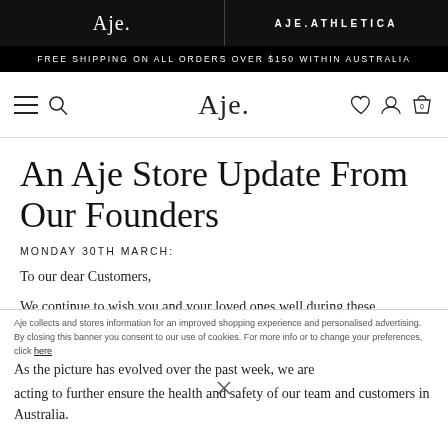Aje. | AJE.ATHLETICA
FREE SHIPPING ON ALL ORDERS OVER $150 WITHIN AUSTRALIA
Aje. [navigation bar with hamburger, search, wishlist, account, cart icons]
An Aje Store Update From Our Founders
MONDAY 30TH MARCH:
To our dear Customers,
We continue to wish you and your loved ones well during these unprecedented times.
As the picture has evolved over the past week, we are acting to further ensure the health and safety of our team and customers in Australia.
Aje collects and stores information for an improved shopping experience and personalised advertising. By closing this banner you consent to our use of cookies. For more info or to change your preferences, click here